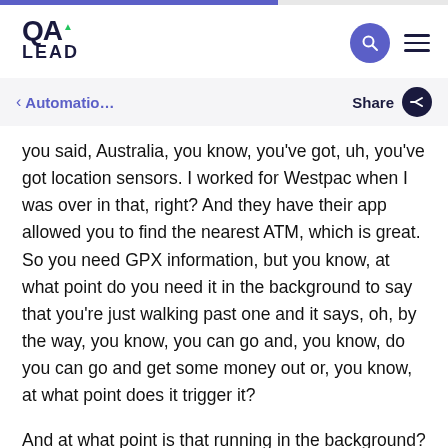QA LEAD
< Automatio...   Share
you said, Australia, you know, you've got, uh, you've got location sensors. I worked for Westpac when I was over in that, right? And they have their app allowed you to find the nearest ATM, which is great. So you need GPX information, but you know, at what point do you need it in the background to say that you're just walking past one and it says, oh, by the way, you know, you can go and, you know, do you can go and get some money out or, you know, at what point does it trigger it?
And at what point is that running in the background? A lot of these things people don't think about. I think, like you said, a lot of it's happy path, and I think we can, we